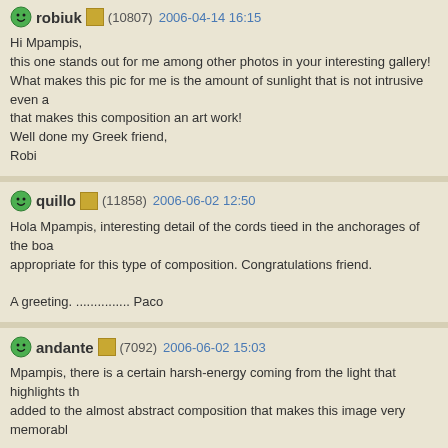robiuk (10807) 2006-04-14 16:15
Hi Mpampis,
this one stands out for me among other photos in your interesting gallery!
What makes this pic for me is the amount of sunlight that is not intrusive even a
that makes this composition an art work!
Well done my Greek friend,
Robi
quillo (11858) 2006-06-02 12:50
Hola Mpampis, interesting detail of the cords tieed in the anchorages of the boa
appropriate for this type of composition. Congratulations friend.

A greeting. ............... Paco
andante (7092) 2006-06-02 15:03
Mpampis, there is a certain harsh-energy coming from the light that highlights th
added to the almost abstract composition that makes this image very memorabl

Best regards,
Enrique